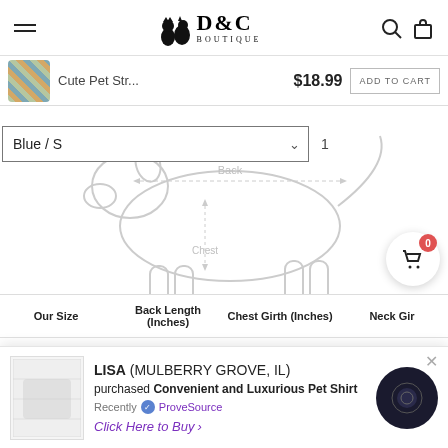D&C BOUTIQUE
Cute Pet Str... $18.99 ADD TO CART
Blue / S  1
[Figure (illustration): Dog sizing diagram showing back length, chest girth, and neck girth measurement points on a side-view dog outline]
| Our Size | Back Length (Inches) | Chest Girth (Inches) | Neck Girth (Inches) |
| --- | --- | --- | --- |
| S | 8lbs - 12lbs | 12lbs - 14lbs | 12lbs |
LISA (MULBERRY GROVE, IL) purchased Convenient and Luxurious Pet Shirt Recently ✓ ProveSource Click Here to Buy >